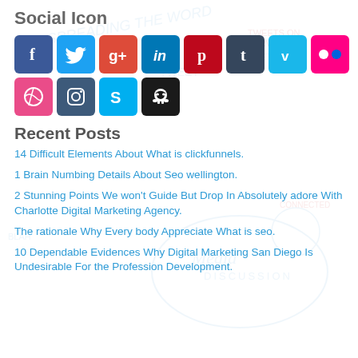Social Icon
[Figure (infographic): Row of social media icon buttons: Facebook (blue), Twitter (light blue), Google+ (red-orange), LinkedIn (blue), Pinterest (dark red), Tumblr (dark blue-grey), Vimeo (light blue), Flickr (pink). Second row: Dribbble (pink), Instagram (dark blue), Skype (light blue), GitHub (black).]
Recent Posts
14 Difficult Elements About What is clickfunnels.
1 Brain Numbing Details About Seo wellington.
2 Stunning Points We won't Guide But Drop In Absolutely adore With Charlotte Digital Marketing Agency.
The rationale Why Every body Appreciate What is seo.
10 Dependable Evidences Why Digital Marketing San Diego Is Undesirable For the Profession Development.